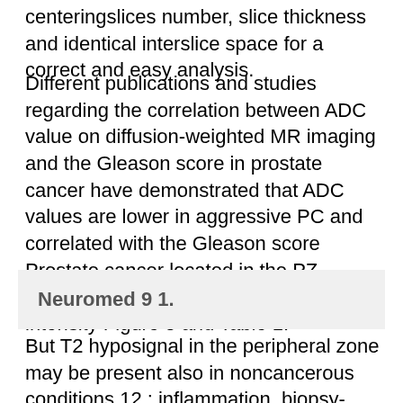centeringslices number, slice thickness and identical interslice space for a correct and easy analysis.
Different publications and studies regarding the correlation between ADC value on diffusion-weighted MR imaging and the Gleason score in prostate cancer have demonstrated that ADC values are lower in aggressive PC and correlated with the Gleason score Prostate cancer located in the PZ corresponds to an area of low signal intensity Figure 3 and Table 1.
Neuromed 9 1.
But T2 hyposignal in the peripheral zone may be present also in noncancerous conditions 12 : inflammation, biopsy-related hemorrhage blood products may persist weeks or longer after prostate